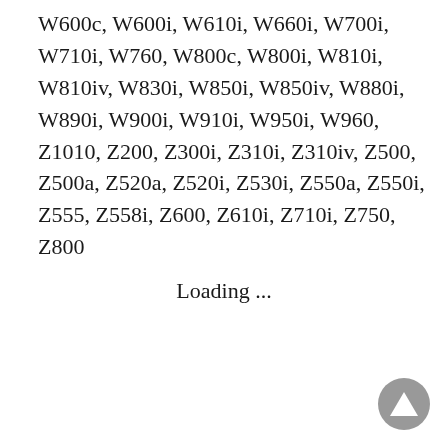W600c, W600i, W610i, W660i, W700i, W710i, W760, W800c, W800i, W810i, W810iv, W830i, W850i, W850iv, W880i, W890i, W900i, W910i, W950i, W960, Z1010, Z200, Z300i, Z310i, Z310iv, Z500, Z500a, Z520a, Z520i, Z530i, Z550a, Z550i, Z555, Z558i, Z600, Z610i, Z710i, Z750, Z800
Loading ...